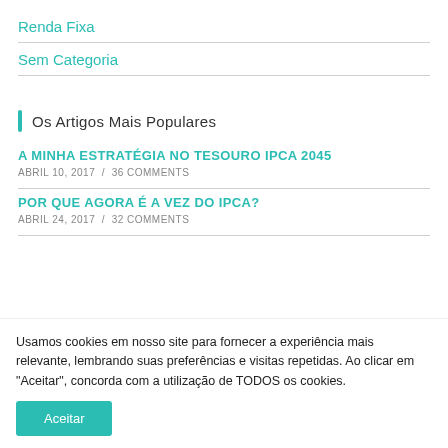Renda Fixa
Sem Categoria
Os Artigos Mais Populares
A MINHA ESTRATÉGIA NO TESOURO IPCA 2045
ABRIL 10, 2017 / 36 COMMENTS
POR QUE AGORA É A VEZ DO IPCA?
ABRIL 24, 2017 / 32 COMMENTS
Usamos cookies em nosso site para fornecer a experiência mais relevante, lembrando suas preferências e visitas repetidas. Ao clicar em "Aceitar", concorda com a utilização de TODOS os cookies.